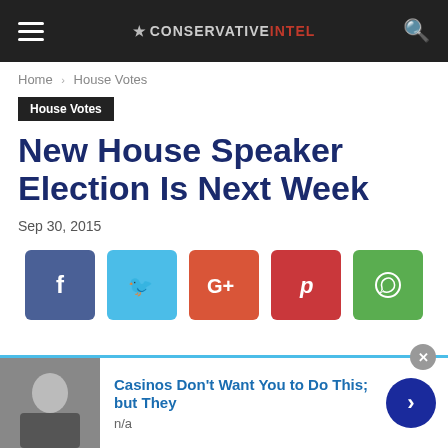★ CONSERVATIVEINTEL
Home › House Votes
House Votes
New House Speaker Election Is Next Week
Sep 30, 2015
[Figure (infographic): Social media sharing buttons: Facebook (blue), Twitter (cyan), Google+ (orange-red), Pinterest (red), WhatsApp (green)]
Casinos Don't Want You to Do This; but They
n/a